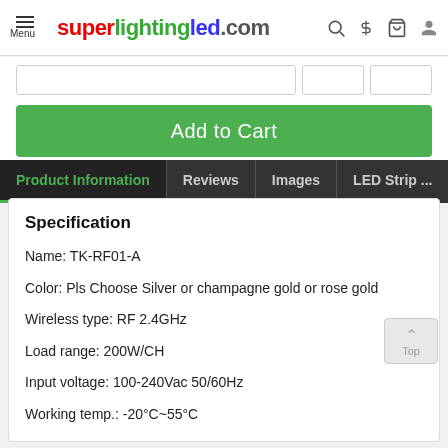superlightingled.com
[Figure (screenshot): Add to Cart button and input fields on e-commerce product page]
Product Information | Reviews | Images | LED Strip ...
Specification
Name: TK-RF01-A
Color: Pls Choose Silver or champagne gold or rose gold
Wireless type: RF 2.4GHz
Load range: 200W/CH
Input voltage: 100-240Vac 50/60Hz
Working temp.: -20°C~55°C